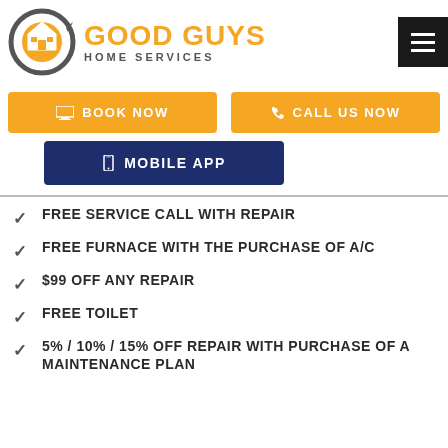[Figure (logo): Good Guys Home Services logo with orange circular arrow and house icon, and orange/gray text]
[Figure (infographic): Two orange buttons: BOOK NOW and CALL US NOW, and one navy blue MOBILE APP button]
FREE SERVICE CALL WITH REPAIR
FREE FURNACE WITH THE PURCHASE OF A/C
$99 OFF ANY REPAIR
FREE TOILET
5% / 10% / 15% OFF REPAIR WITH PURCHASE OF A MAINTENANCE PLAN